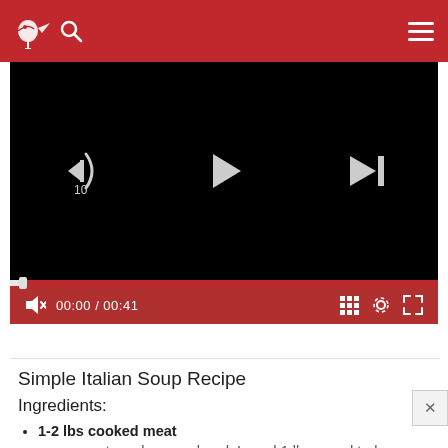Simple Recipes website header with logo, search icon, and menu
[Figure (screenshot): Video player showing a recipe video, paused at 00:00 / 00:41, with playback controls including rewind 10s, play, next, mute, progress bar, grid view, settings, and fullscreen icons on a dark red control bar.]
Simple Italian Soup Recipe
Ingredients:
1-2 lbs cooked meat – any meat you have on hand, I used 1 lb ground turkey and 12 oz. breakfast sausage links
3 medium potatoes, peeled and diced into 1/2 inch pieces – I used brown russet potatoes, but you could use red or sweet potatoes.